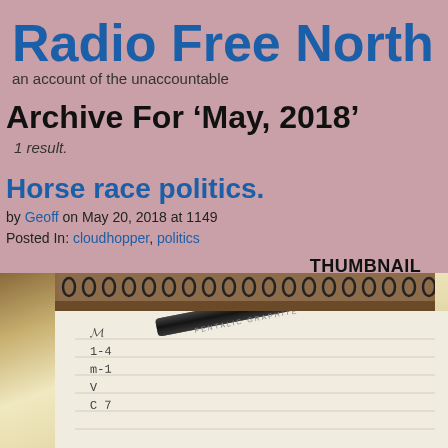Radio Free North Ho
an account of the unaccountable
Archive For ‘May, 2018’
1 result.
Horse race politics.
by Geoff on May 20, 2018 at 1149
Posted In: cloudhopper, politics
[Figure (photo): Thumbnail not found placeholder followed by a photo of a spiral notebook with a pen (PENTALIC GRAPHITE) resting on it, with handwritten notes visible]
THUMBNAIL NOT FOUND